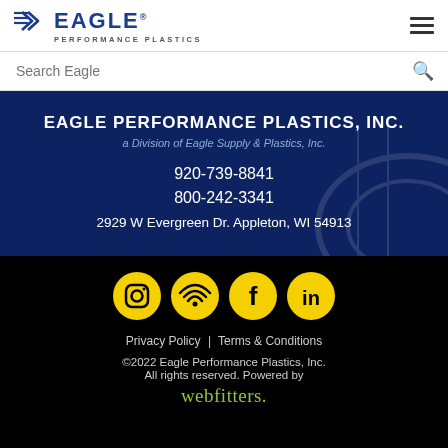[Figure (logo): Eagle Performance Plastics logo with eagle wing icon and EAGLE wordmark, PERFORMANCE PLASTICS subtitle]
Search Eagle
EAGLE PERFORMANCE PLASTICS, INC.
a Division of Eagle Supply & Plastics, Inc.
920-739-8841
800-242-3341
2929 W Evergreen Dr. Appleton, WI 54913
[Figure (illustration): Four yellow circular social media icons: Instagram, RSS/Blog, Facebook, LinkedIn]
Privacy Policy | Terms & Conditions
©2022 Eagle Performance Plastics, Inc. All rights reserved. Powered by webfitters.